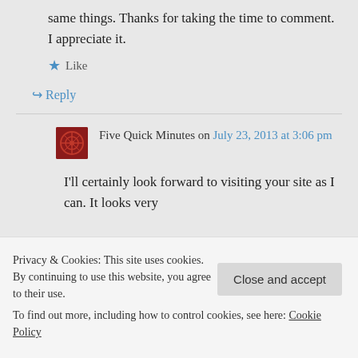same things. Thanks for taking the time to comment. I appreciate it.
★ Like
↪ Reply
Five Quick Minutes on July 23, 2013 at 3:06 pm
I'll certainly look forward to visiting your site as I can. It looks very
Privacy & Cookies: This site uses cookies. By continuing to use this website, you agree to their use.
To find out more, including how to control cookies, see here: Cookie Policy